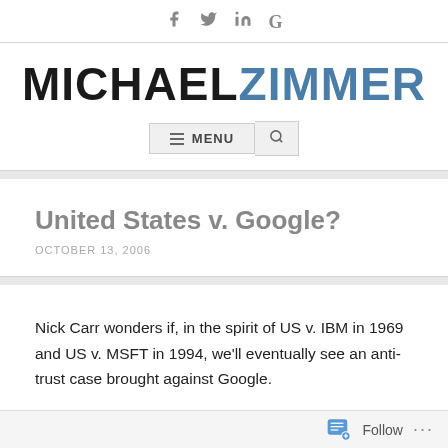Social icons: Facebook, Twitter, LinkedIn, Google
MICHAELZIMMER
≡ MENU 🔍
United States v. Google?
OCTOBER 13, 2006
Nick Carr wonders if, in the spirit of US v. IBM in 1969 and US v. MSFT in 1994, we'll eventually see an anti-trust case brought against Google.